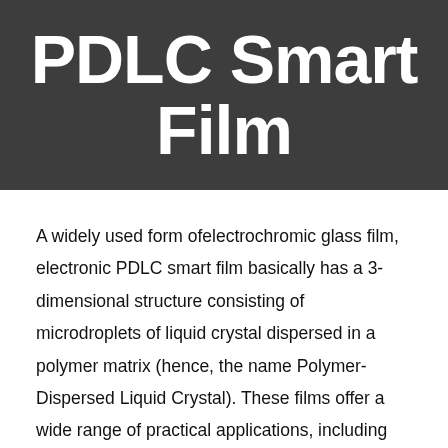PDLC Smart Film
A widely used form ofelectrochromic glass film, electronic PDLC smart film basically has a 3-dimensional structure consisting of microdroplets of liquid crystal dispersed in a polymer matrix (hence, the name Polymer-Dispersed Liquid Crystal). These films offer a wide range of practical applications, including